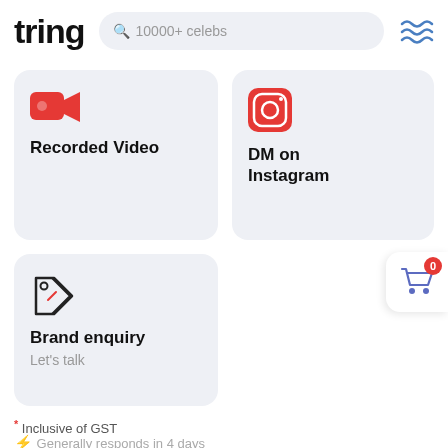tring
10000+ celebs
Recorded Video
DM on Instagram
Brand enquiry
Let's talk
* Inclusive of GST
⚡ Generally responds in 4 days
This video message is for  ∨
Myself
Someone else